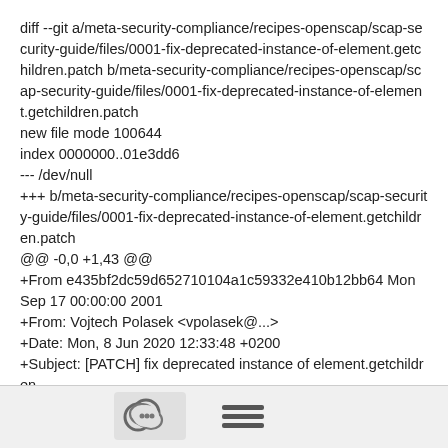diff --git a/meta-security-compliance/recipes-openscap/scap-security-guide/files/0001-fix-deprecated-instance-of-element.getchildren.patch b/meta-security-compliance/recipes-openscap/scap-security-guide/files/0001-fix-deprecated-instance-of-element.getchildren.patch
new file mode 100644
index 0000000..01e3dd6
--- /dev/null
+++ b/meta-security-compliance/recipes-openscap/scap-security-guide/files/0001-fix-deprecated-instance-of-element.getchildren.patch
@@ -0,0 +1,43 @@
+From e435bf2dc59d652710104a1c59332e410b12bb64 Mon Sep 17 00:00:00 2001
+From: Vojtech Polasek <vpolasek@...>
+Date: Mon, 8 Jun 2020 12:33:48 +0200
+Subject: [PATCH] fix deprecated instance of element.getchildren
+
[Figure (other): Footer bar with a comment/chat icon button and a hamburger menu icon]